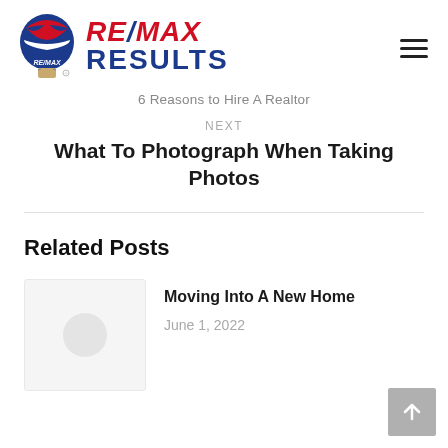[Figure (logo): RE/MAX hot air balloon logo with RE/MAX RESULTS text in red and blue]
6 Reasons to Hire A Realtor
NEXT
What To Photograph When Taking Photos
Related Posts
Moving Into A New Home
June 1, 2022